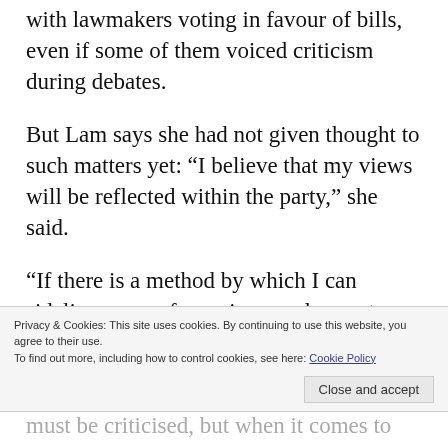with lawmakers voting in favour of bills, even if some of them voiced criticism during debates.
But Lam says she had not given thought to such matters yet: “I believe that my views will be reflected within the party,” she said.
“If there is a method by which I can sideline some of my views and accept some other people’s views and push things forward, I would rather pick this option.”
Privacy & Cookies: This site uses cookies. By continuing to use this website, you agree to their use.
To find out more, including how to control cookies, see here: Cookie Policy
Close and accept
must be criticised, but when it comes to topics